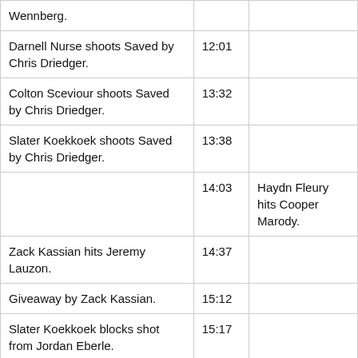| Event | Time | Event |
| --- | --- | --- |
| Wennberg. |  |  |
| Darnell Nurse shoots Saved by Chris Driedger. | 12:01 |  |
| Colton Sceviour shoots Saved by Chris Driedger. | 13:32 |  |
| Slater Koekkoek shoots Saved by Chris Driedger. | 13:38 |  |
|  | 14:03 | Haydn Fleury hits Cooper Marody. |
| Zack Kassian hits Jeremy Lauzon. | 14:37 |  |
| Giveaway by Zack Kassian. | 15:12 |  |
| Slater Koekkoek blocks shot from Jordan Eberle. | 15:17 |  |
| William Lagesson hits Brandon T… | 16:00 |  |